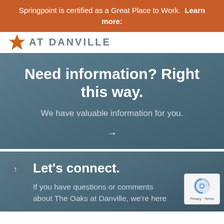Springpoint is certified as a Great Place to Work.  Learn more:
[Figure (logo): Star logo icon with text AT DANVILLE]
Need information? Right this way.
We have valuable information for you.
→
Let's connect.
If you have questions or comments about The Oaks at Danville, we're here